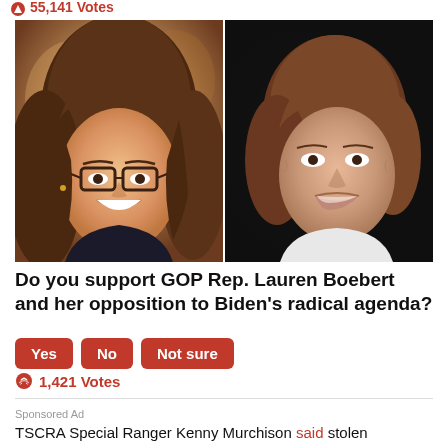55,141 Votes
[Figure (photo): Two side-by-side photos: left shows a smiling young woman with long brown hair and glasses; right shows an older woman with short brown hair speaking at a microphone against a dark background.]
Do you support GOP Rep. Lauren Boebert and her opposition to Biden's radical agenda?
Yes   No   Not sure
1,421 Votes
Sponsored Ad
TSCRA Special Ranger Kenny Murchison said stolen